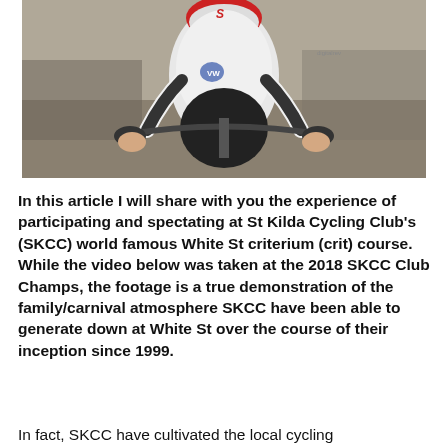[Figure (photo): A cyclist in a white and black Specialized kit with a VW sponsor logo, riding in an aerodynamic position on a road bike during a race or time trial.]
In this article I will share with you the experience of participating and spectating at St Kilda Cycling Club's (SKCC) world famous White St criterium (crit) course. While the video below was taken at the 2018 SKCC Club Champs, the footage is a true demonstration of the family/carnival atmosphere SKCC have been able to generate down at White St over the course of their inception since 1999.
In fact, SKCC have cultivated the local cycling